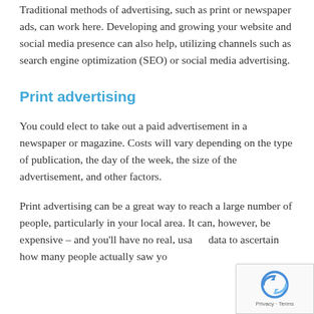Traditional methods of advertising, such as print or newspaper ads, can work here. Developing and growing your website and social media presence can also help, utilizing channels such as search engine optimization (SEO) or social media advertising.
Print advertising
You could elect to take out a paid advertisement in a newspaper or magazine. Costs will vary depending on the type of publication, the day of the week, the size of the advertisement, and other factors.
Print advertising can be a great way to reach a large number of people, particularly in your local area. It can, however, be expensive – and you'll have no real, usable data to ascertain how many people actually saw you...